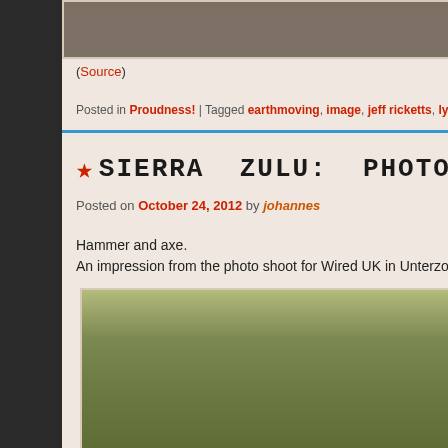[Figure (photo): Cropped photo at top, partially visible]
(Source)
Posted in Proudness! | Tagged earthmoving, image, jeff ricketts, lynsey thurga...
★SIERRA ZULU: PHOTO SHOOT FO...
Posted on October 24, 2012 by johannes
Hammer and axe.
An impression from the photo shoot for Wired UK in Unterzoege...
[Figure (photo): Photo of camouflage/foliage background at bottom]